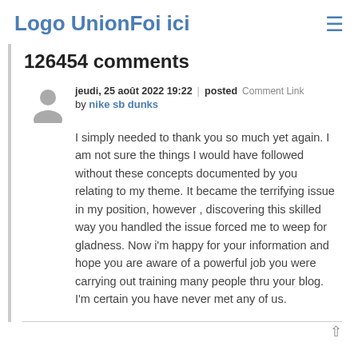Logo UnionFoi ici
126454 comments
jeudi, 25 août 2022 19:22 | posted Comment Link
by nike sb dunks
I simply needed to thank you so much yet again. I am not sure the things I would have followed without these concepts documented by you relating to my theme. It became the terrifying issue in my position, however , discovering this skilled way you handled the issue forced me to weep for gladness. Now i'm happy for your information and hope you are aware of a powerful job you were carrying out training many people thru your blog. I'm certain you have never met any of us.